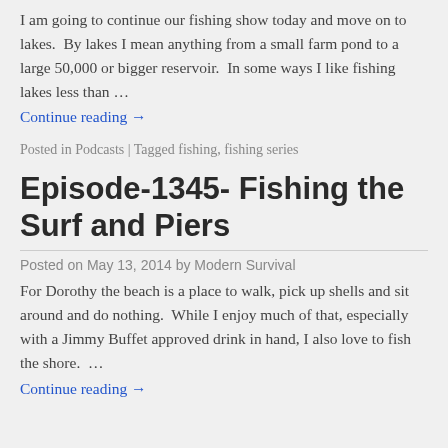I am going to continue our fishing show today and move on to lakes.  By lakes I mean anything from a small farm pond to a large 50,000 or bigger reservoir.  In some ways I like fishing lakes less than …
Continue reading →
Posted in Podcasts | Tagged fishing, fishing series
Episode-1345- Fishing the Surf and Piers
Posted on May 13, 2014 by Modern Survival
For Dorothy the beach is a place to walk, pick up shells and sit around and do nothing.  While I enjoy much of that, especially with a Jimmy Buffet approved drink in hand, I also love to fish the shore.  …
Continue reading →